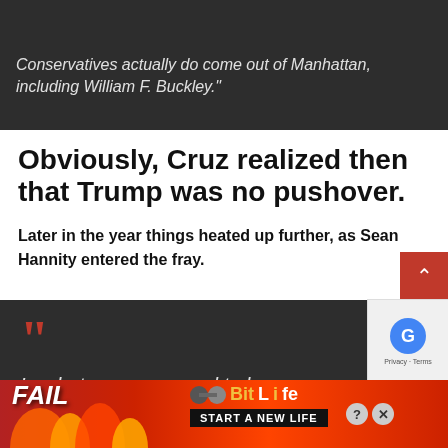· · · · · · · · · · · · · (navigation dots)
Conservatives actually do come out of Manhattan, including William F. Buckley."
Obviously, Cruz realized then that Trump was no pushover.
Later in the year things heated up further, as Sean Hannity entered the fray.
““ In what was supposed to be a
[Figure (screenshot): BitLife advertisement banner: red/flame background with 'FAIL' text, animated character, BitLife logo, and 'START A NEW LIFE' button. Help and close icons visible.]